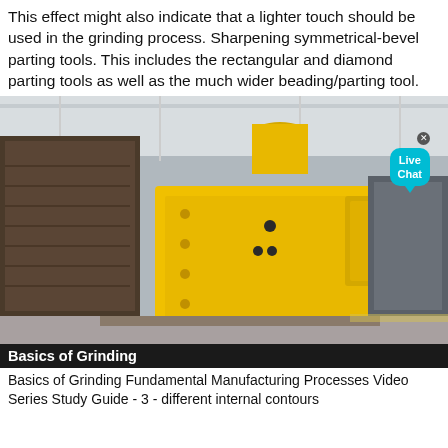This effect might also indicate that a lighter touch should be used in the grinding process. Sharpening symmetrical-bevel parting tools. This includes the rectangular and diamond parting tools as well as the much wider beading/parting tool.
[Figure (photo): Industrial yellow heavy machinery (jaw crusher or similar equipment) inside a factory/manufacturing facility. A 'Live Chat' bubble is visible in the top-right corner of the image.]
Basics of Grinding
Basics of Grinding Fundamental Manufacturing Processes Video Series Study Guide - 3 - different internal contours